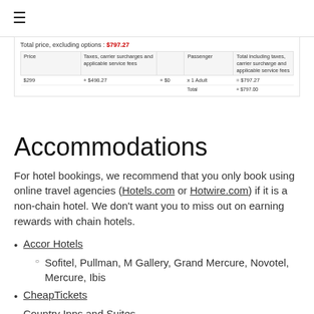☰
[Figure (screenshot): Screenshot of a flight booking price summary table. Shows 'Total price, excluding options: $797.27' in red. Table columns: Price, Taxes/carrier surcharges and applicable service fees, Passenger, Total including taxes/carrier surcharge and applicable service fees. Row: $299, +$498.27, +$0, x 1 Adult, = $797.27. Total row: Total $797.00]
Accommodations
For hotel bookings, we recommend that you only book using online travel agencies (Hotels.com or Hotwire.com) if it is a non-chain hotel. We don't want you to miss out on earning rewards with chain hotels.
Accor Hotels
Sofitel, Pullman, M Gallery, Grand Mercure, Novotel, Mercure, Ibis
CheapTickets
Country Inns and Suites